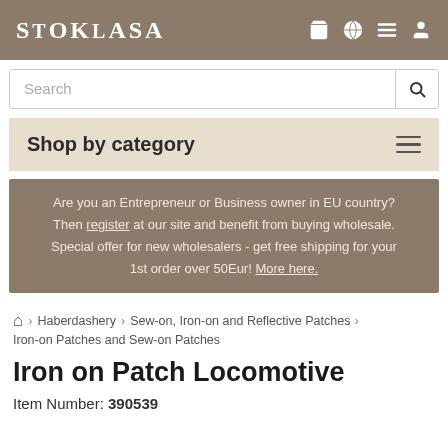STOKLASA
Search
Shop by category
Are you an Entrepreneur or Business owner in EU country? Then register at our site and benefit from buying wholesale. Special offer for new wholesalers - get free shipping for your 1st order over 50Eur! More here.
Home > Haberdashery > Sew-on, Iron-on and Reflective Patches > Iron-on Patches and Sew-on Patches
Iron on Patch Locomotive
Item Number: 390539